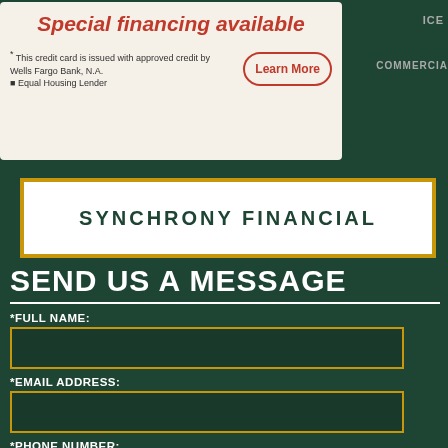[Figure (screenshot): Special financing available banner with Wells Fargo/Synchrony credit card offer, showing 'This credit card is issued with approved credit by Wells Fargo Bank, N.A. Equal Housing Lender' and a 'Learn More' button]
SYNCHRONY FINANCIAL
SEND US A MESSAGE
*FULL NAME:
*EMAIL ADDRESS:
*PHONE NUMBER:
ZIP CODE: